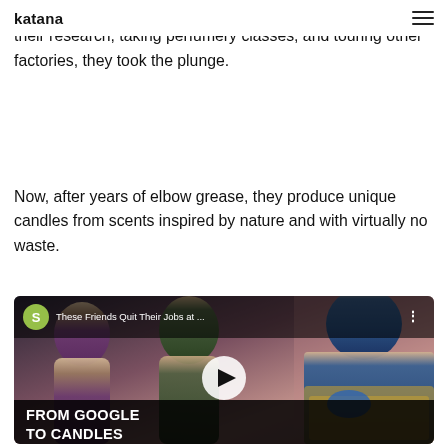katana ☰
forming a candle manufacturing business, and after doing their research, taking perfumery classes, and touring other factories, they took the plunge.
Now, after years of elbow grease, they produce unique candles from scents inspired by nature and with virtually no waste.
[Figure (screenshot): YouTube video thumbnail showing three men, with Shopify logo badge. Title reads 'These Friends Quit Their Jobs at ...' with three-dot menu. Large bold text overlay at bottom reads 'FROM GOOGLE TO CANDLES'. Play button in center.]